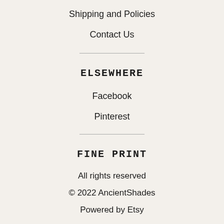Shipping and Policies
Contact Us
ELSEWHERE
Facebook
Pinterest
FINE PRINT
All rights reserved
© 2022 AncientShades
Powered by Etsy